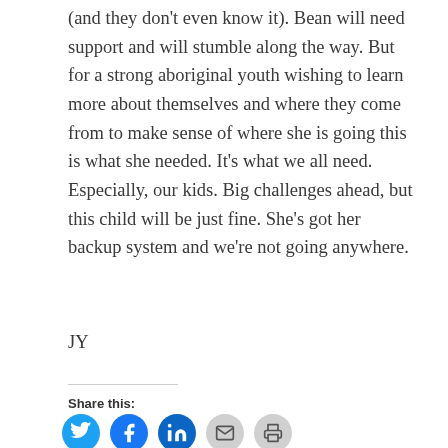(and they don't even know it). Bean will need support and will stumble along the way. But for a strong aboriginal youth wishing to learn more about themselves and where they come from to make sense of where she is going this is what she needed. It's what we all need. Especially, our kids. Big challenges ahead, but this child will be just fine. She's got her backup system and we're not going anywhere.
JY
Share this: